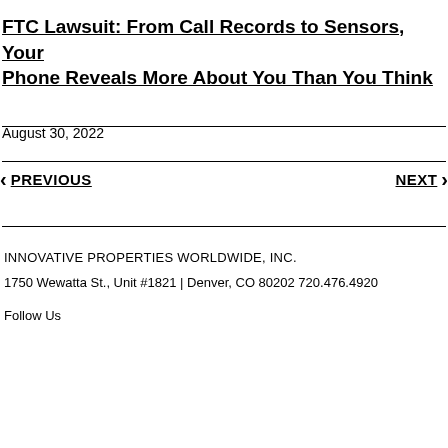FTC Lawsuit: From Call Records to Sensors, Your Phone Reveals More About You Than You Think
August 30, 2022
◀ PREVIOUS    NEXT ▶
INNOVATIVE PROPERTIES WORLDWIDE, INC.
1750 Wewatta St., Unit #1821 | Denver, CO 80202 720.476.4920
Follow Us